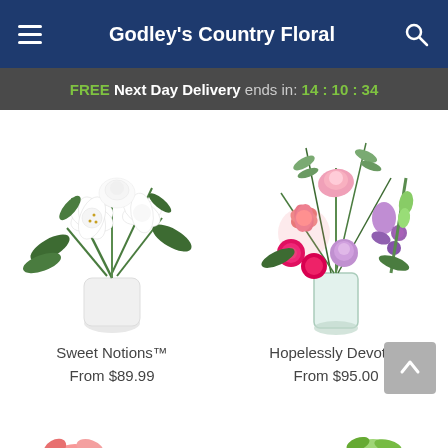Godley's Country Floral
FREE Next Day Delivery ends in: 14 : 10 : 34
[Figure (photo): White flower bouquet in white vase — Sweet Notions™]
Sweet Notions™
From $89.99
[Figure (photo): Pink and purple flower bouquet in glass vase — Hopelessly Devoted]
Hopelessly Devoted
From $95.00